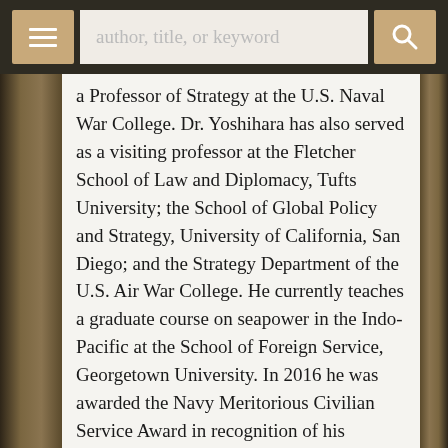author, title, or keyword
a Professor of Strategy at the U.S. Naval War College. Dr. Yoshihara has also served as a visiting professor at the Fletcher School of Law and Diplomacy, Tufts University; the School of Global Policy and Strategy, University of California, San Diego; and the Strategy Department of the U.S. Air War College. He currently teaches a graduate course on seapower in the Indo-Pacific at the School of Foreign Service, Georgetown University. In 2016 he was awarded the Navy Meritorious Civilian Service Award in recognition of his scholarship on maritime and strategic affairs at the Naval War College. He holds a Ph.D. from the Fletcher School of Law and Diplomacy, Tufts University. James Holmes holds the J. C. Wylie Chair of Maritime Strategy at the Naval War